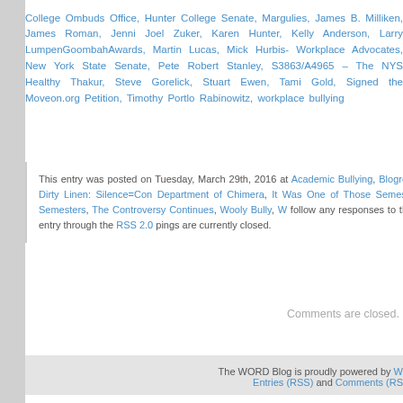College Ombuds Office, Hunter College Senate, Margulies, James B. Milliken, James Roman, Jenni Joel Zuker, Karen Hunter, Kelly Anderson, Larry LumpenGoombahAwards, Martin Lucas, Mick Hurbis- Workplace Advocates, New York State Senate, Pete Robert Stanley, S3863/A4965 – The NYS Healthy Thakur, Steve Gorelick, Stuart Ewen, Tami Gold, Signed the Moveon.org Petition, Timothy Portlo Rabinowitz, workplace bullying
This entry was posted on Tuesday, March 29th, 2016 at Academic Bullying, Blogroll, Dirty Linen: Silence=Cor Department of Chimera, It Was One of Those Semeste Semesters, The Controversy Continues, Wooly Bully, W follow any responses to this entry through the RSS 2.0 pings are currently closed.
Comments are closed.
The WORD Blog is proudly powered by W Entries (RSS) and Comments (RS